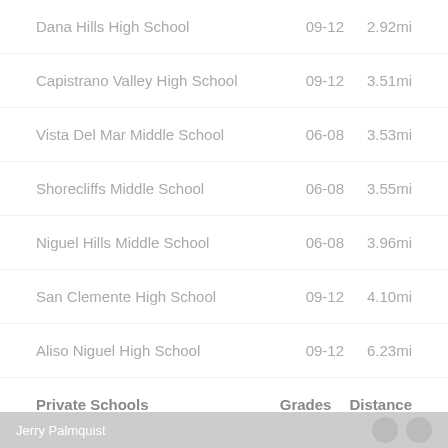| School | Grades | Distance |
| --- | --- | --- |
| Dana Hills High School | 09-12 | 2.92mi |
| Capistrano Valley High School | 09-12 | 3.51mi |
| Vista Del Mar Middle School | 06-08 | 3.53mi |
| Shorecliffs Middle School | 06-08 | 3.55mi |
| Niguel Hills Middle School | 06-08 | 3.96mi |
| San Clemente High School | 09-12 | 4.10mi |
| Aliso Niguel High School | 09-12 | 6.23mi |
| Private Schools | Grades | Distance |
| The Johnson Academy | KG-08 | 0.54mi |
| St. Margaret's Episcopal School | PK-12 | 0.81mi |
Jerry Palmquist